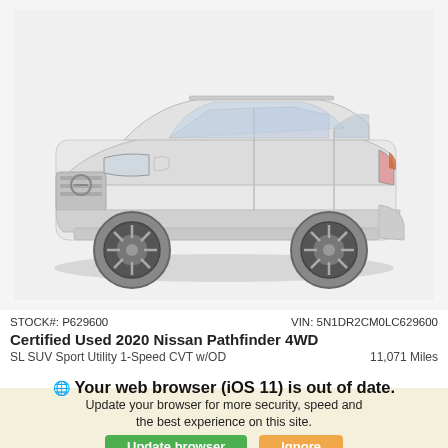[Figure (photo): White Nissan Pathfinder 4WD SUV shown in 3/4 front view against a light gray/white background]
STOCK#: P629600
VIN: 5N1DR2CM0LC629600
Certified Used 2020 Nissan Pathfinder 4WD
SL SUV Sport Utility 1-Speed CVT w/OD
11,071 Miles
Your web browser (iOS 11) is out of date.
Update your browser for more security, speed and the best experience on this site.
Update browser   Ignore